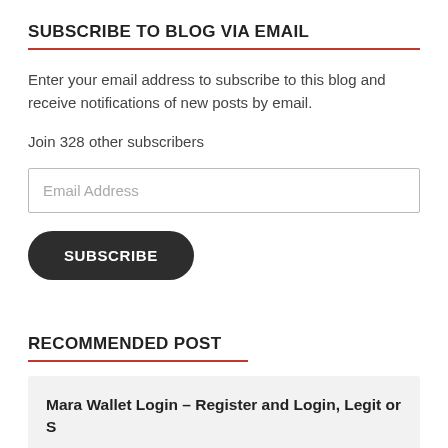SUBSCRIBE TO BLOG VIA EMAIL
Enter your email address to subscribe to this blog and receive notifications of new posts by email.
Join 328 other subscribers
Email Address
SUBSCRIBE
RECOMMENDED POST
Mara Wallet Login – Register and Login, Legit or S…